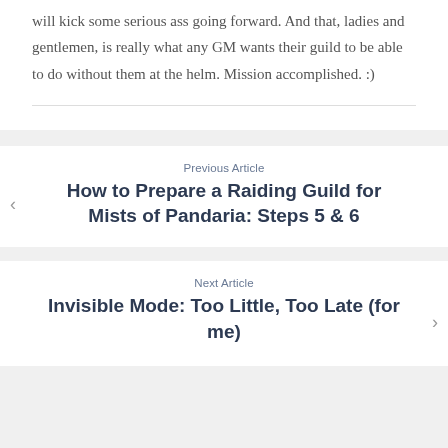will kick some serious ass going forward. And that, ladies and gentlemen, is really what any GM wants their guild to be able to do without them at the helm. Mission accomplished. :)
Previous Article
How to Prepare a Raiding Guild for Mists of Pandaria: Steps 5 & 6
Next Article
Invisible Mode: Too Little, Too Late (for me)